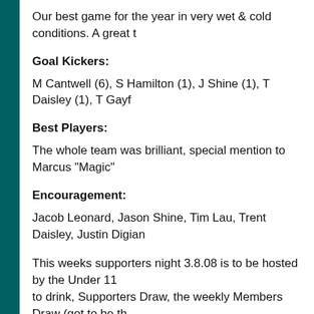Our best game for the year in very wet & cold conditions. A great t
Goal Kickers:
M Cantwell (6), S Hamilton (1), J Shine (1), T Daisley (1), T Gayf
Best Players:
The whole team was brilliant, special mention to Marcus "Magic"
Encouragement:
Jacob Leonard, Jason Shine, Tim Lau, Trent Daisley, Justin Digian
This weeks supporters night 3.8.08 is to be hosted by the Under 11 to drink, Supporters Draw, the weekly Members Draw (got to be th
Round 13 - 20/07/2008 St Mary's Under 12 - Blue 2 .4 .16
Boys showed great endeavour and tried hard all day but the opposi